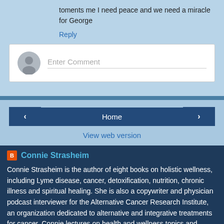toments me I need peace and we need a miracle for George
Reply
[Figure (screenshot): Comment entry box with avatar icon and placeholder text 'Enter Comment']
Home
View web version
Connie Strasheim
Connie Strasheim is the author of eight books on holistic wellness, including Lyme disease, cancer, detoxification, nutrition, chronic illness and spiritual healing. She is also a copywriter and physician podcast interviewer for the Alternative Cancer Research Institute, an organization dedicated to alternative and integrative treatments for cancer. Connie lectures on health and wellness topics and volunteers as a healing prayer minister at her local church in